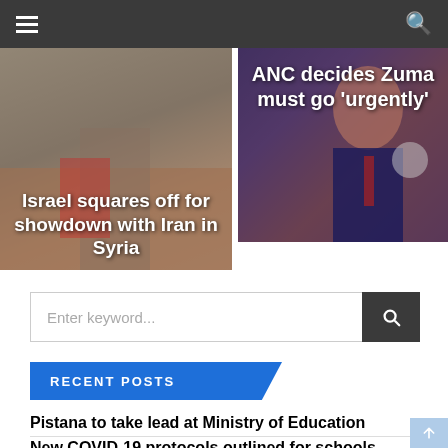Navigation bar with hamburger menu and search icon
[Figure (photo): News thumbnail image showing a scene related to Israel and Iran in Syria with overlaid headline text: 'Israel squares off for showdown with Iran in Syria']
[Figure (photo): News thumbnail image showing a person in a suit, related to ANC and Zuma with overlaid headline text: 'ANC decides Zuma must go urgently']
Enter keyword...
RECENT POSTS
Pistana to take lead at Ministry of Education
New COVID-19 protocols outlined for schools